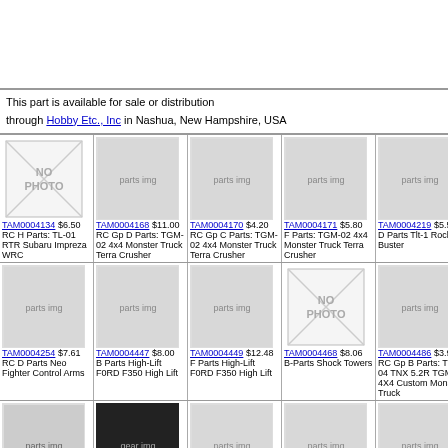This part is available for sale or distribution through Hobby Etc., Inc in Nashua, New Hampshire, USA
| TAM0004134 $6.50 RC H Parts: TL-01 RTR Subaru Impreza WRC | TAM0004168 $11.00 RC Gp D Parts: TGM-02 4x4 Monster Truck Terra Crusher | TAM0004170 $4.20 RC Gp C Parts: TGM-02 4x4 Monster Truck Terra Crusher | TAM0004171 $5.80 F Parts: TGM-02 4x4 Monster Truck Terra Crusher | TAM0004219 $5.50 D Parts Tlt-1 Rock Buster |
| TAM0004254 $7.61 RC D Parts Neo Fighter Control Arms | TAM0004447 $8.00 B Parts High-Lift F0RD F350 High Lift | TAM0004449 $12.48 F Parts High-Lift F0RD F350 High Lift | TAM0004468 $8.06 B-Parts Shock Towers | TAM0004486 $3.94 RC Gp B Parts: TGM-04 TNX 5.2R TGM04 4X4 Custom Monster Truck |
| TAM0005069 $15.50 B Parts Grasshopper | TAM0005072 $4.06 RC Counter Gear: CW-01 Midnight Pumpkin/63/43 | TAM0005075 $4.78 RC Bumper: ORV Mud Blaster/70/63/60/58 | TAM0005127 $8.06 C Parts Grasshopper Grasshopper | TAM0005162 $6.50 Rc H Parts ORV Mud Blaster/60/58 |